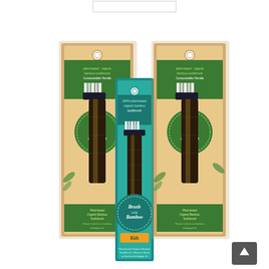[Figure (photo): Three bamboo toothbrush product boxes arranged side by side. The two outer boxes have kraft brown cardboard packaging with green circular 'Brum Bamboo' logo labels and text reading 'Plant-based Organic Bamboo Toothbrush'. The center box is teal/turquoise colored with 'Brush with Bamboo Kids' branding. All three boxes show toothbrushes with dark bamboo handles inside. Bamboo leaf decorations appear on the outer boxes.]